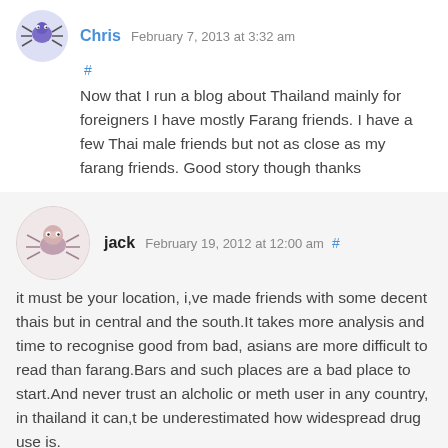Chris February 7, 2013 at 3:32 am #
Now that I run a blog about Thailand mainly for foreigners I have mostly Farang friends. I have a few Thai male friends but not as close as my farang friends. Good story though thanks
jack February 19, 2012 at 12:00 am #
it must be your location, i,ve made friends with some decent thais but in central and the south.It takes more analysis and time to recognise good from bad, asians are more difficult to read than farang.Bars and such places are a bad place to start.And never trust an alcholic or meth user in any country, in thailand it can,t be underestimated how widespread drug use is.